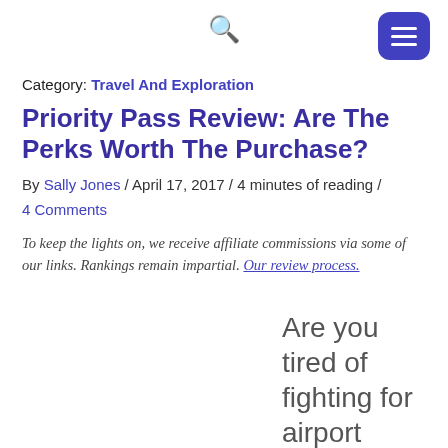[search icon] [menu button]
Category: Travel And Exploration
Priority Pass Review: Are The Perks Worth The Purchase?
By Sally Jones / April 17, 2017 / 4 minutes of reading / 4 Comments
To keep the lights on, we receive affiliate commissions via some of our links. Rankings remain impartial. Our review process.
Are you tired of fighting for airport seats whenev